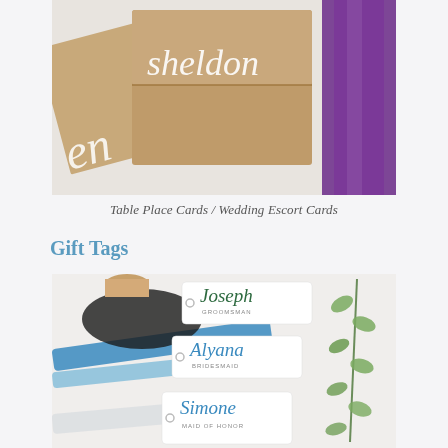[Figure (photo): Close-up photo of kraft paper table place cards with white calligraphy script showing names like 'sheldon' and 'en', with a purple ribbon beside them on a white surface.]
Table Place Cards / Wedding Escort Cards
Gift Tags
[Figure (photo): Photo of wedding gift tags with calligraphy names 'Joseph (Groomsman)', 'Alyana (Bridesmaid)', and 'Simone (Maid of Honor)' written in teal/green script on white tags, with blue and white ribbons and an eucalyptus sprig on the right side.]